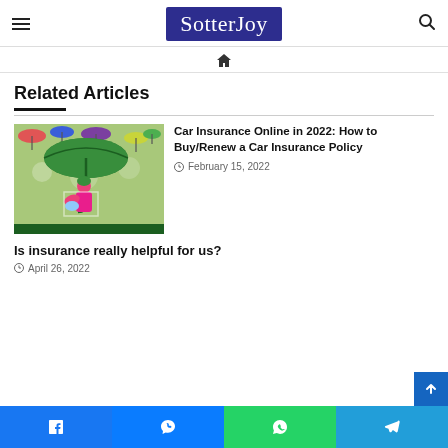SotterJoy
[Figure (illustration): Illustration of umbrella and person holding baby in rain, cartoon style, green tones]
Related Articles
Car Insurance Online in 2022: How to Buy/Renew a Car Insurance Policy
February 15, 2022
Is insurance really helpful for us?
April 26, 2022
Facebook Messenger WhatsApp Telegram